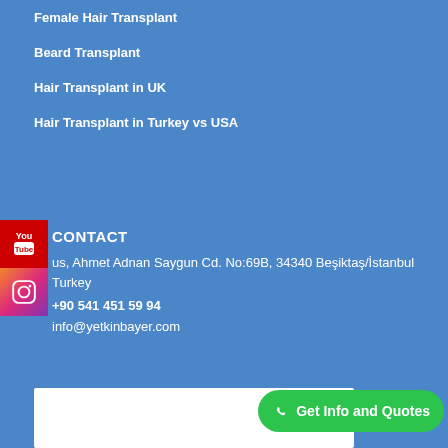Female Hair Transplant
Beard Transplant
Hair Transplant in UK
Hair Transplant in Turkey vs USA
CONTACT
us, Ahmet Adnan Saygun Cd. No:69B, 34340 Beşiktaş/İstanbul Turkey
+90 541 451 59 94
info@yetkinbayer.com
[Figure (other): YouTube social media icon button (red background with You Tube text)]
[Figure (other): Instagram social media icon button (gradient background with camera icon)]
[Figure (other): Map or form embed area (white rectangle)]
Get Info and Quotes